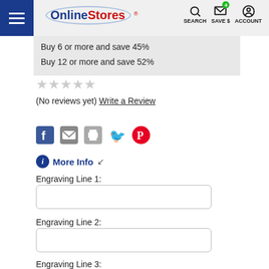OnlineStores — SEARCH, SAVE $, ACCOUNT
Buy 6 or more and save 45%
Buy 12 or more and save 52%
(No reviews yet) Write a Review
[Figure (screenshot): Social share icons: Facebook, Email, Print, Twitter, Pinterest]
More Info ↓
Engraving Line 1:
Engraving Line 2:
Engraving Line 3: